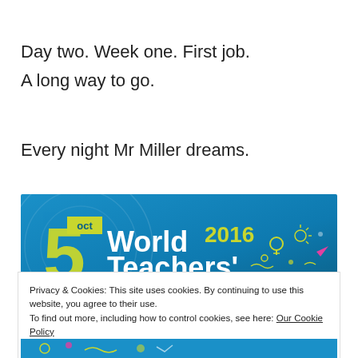Day two. Week one. First job.
A long way to go.
Every night Mr Miller dreams.
[Figure (illustration): World Teachers' Day 2016 banner — blue gradient background with large yellow '5', 'oct' label, '2016' text, and 'World Teachers' Day' in white text, with colorful doodle icons on the right]
Privacy & Cookies: This site uses cookies. By continuing to use this website, you agree to their use.
To find out more, including how to control cookies, see here: Our Cookie Policy
Close and accept